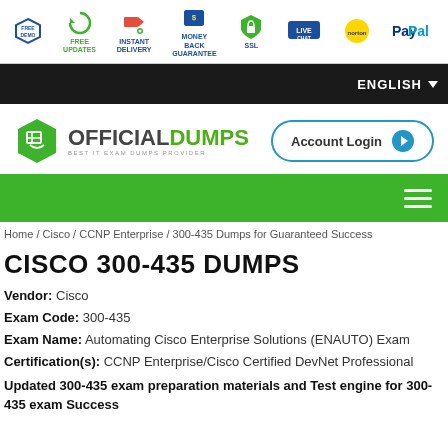[Figure (infographic): Top badge bar with icons: Free Demo, Free Updates, Instant Delivery, Money Back Guarantee, SSL, Live Chat, Norton (McAfee), PayPal]
ENGLISH
[Figure (logo): OfficialDumps logo - green hexagon with book icon, text OFFICIALDUMPS, tagline BEST IT EXAM DUMPS PROVIDER]
[Figure (other): Account Login button with blue play icon]
[Figure (other): Green navigation bar with hamburger menu icon]
Home / Cisco / CCNP Enterprise / 300-435 Dumps for Guaranteed Success
CISCO 300-435 DUMPS
Vendor: Cisco
Exam Code: 300-435
Exam Name: Automating Cisco Enterprise Solutions (ENAUTO) Exam
Certification(s): CCNP Enterprise/Cisco Certified DevNet Professional
Updated 300-435 exam preparation materials and Test engine for 300-435 exam Success